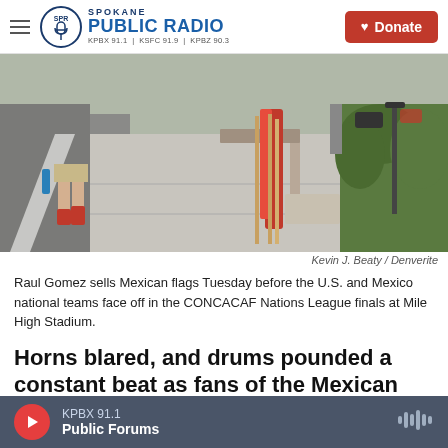Spokane Public Radio — KPBX 91.1 | KSFC 91.9 | KPBZ 90.3 | Donate
[Figure (photo): A person in red socks walks along a sidewalk near a road; a bundle of red Mexican flags leans against a concrete barrier; green vegetation and a street lamp are visible in the background.]
Kevin J. Beaty / Denverite
Raul Gomez sells Mexican flags Tuesday before the U.S. and Mexico national teams face off in the CONCACAF Nations League finals at Mile High Stadium.
Horns blared, and drums pounded a constant beat as fans of the Mexican national soccer team gathered recently at Empower Field at Mile High in
KPBX 91.1 | Public Forums